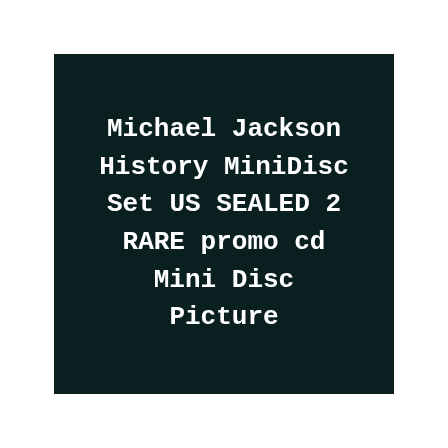Michael Jackson History MiniDisc Set US SEALED 2 RARE promo cd Mini Disc Picture